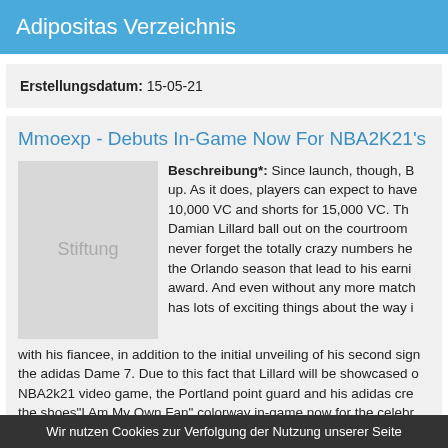Adipositas Verzeichnis
Erstellungsdatum: 15-05-21
Mmoexp - Debuts In-Game Now For NBA2K21's 2K
[Figure (illustration): Placeholder image box with text 'Stiftung']
Beschreibung*: Since launch, though, B... up. As it does, players can expect to have 10,000 VC and shorts for 15,000 VC. Th... Damian Lillard ball out on the courtroom ... never forget the totally crazy numbers he... the Orlando season that lead to his earni... award. And even without any more match... has lots of exciting things about the way i... with his fiancee, in addition to the initial unveiling of his second sign... the adidas Dame 7. Due to this fact that Lillard will be showcased o... NBA2k21 video game, the Portland point guard and his adidas cre... the shoes"I Am My Own Fan" colorway in-game now for the celebr...
Wir nutzen Cookies zur Verfolgung der Nutzung unserer Seite